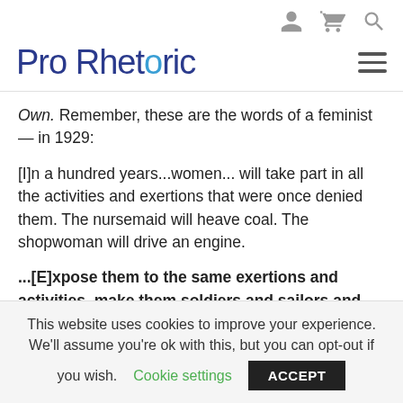Pro Rhetoric
Own. Remember, these are the words of a feminist — in 1929:
[I]n a hundred years...women... will take part in all the activities and exertions that were once denied them. The nursemaid will heave coal. The shopwoman will drive an engine.
...[E]xpose them to the same exertions and activities, make them soldiers and sailors and engine-drivers and dock labourers, and will not
This website uses cookies to improve your experience. We'll assume you're ok with this, but you can opt-out if you wish. Cookie settings  ACCEPT